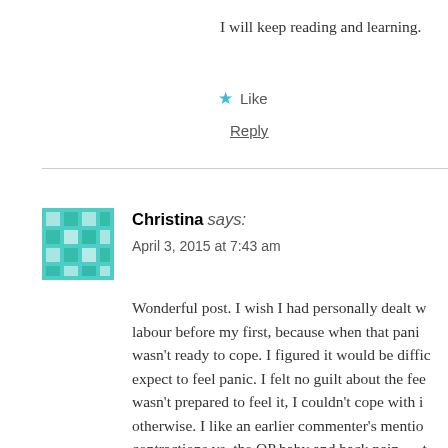I will keep reading and learning.
★ Like
Reply
Christina says:
April 3, 2015 at 7:43 am
Wonderful post. I wish I had personally dealt w labour before my first, because when that pani wasn't ready to cope. I figured it would be diffic expect to feel panic. I felt no guilt about the fee wasn't prepared to feel it, I couldn't cope with i otherwise. I like an earlier commenter's mentio contractions vs. the OP baby and back pain — t latter is "a flaming sledge-hammer taken to my tailbone was going to shatter, and the bone pai